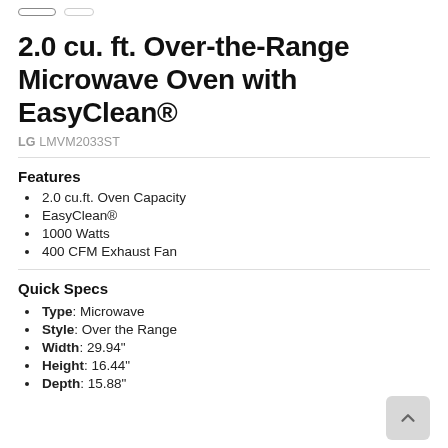2.0 cu. ft. Over-the-Range Microwave Oven with EasyClean®
LG LMVM2033ST
Features
2.0 cu.ft. Oven Capacity
EasyClean®
1000 Watts
400 CFM Exhaust Fan
Quick Specs
Type: Microwave
Style: Over the Range
Width: 29.94"
Height: 16.44"
Depth: 15.88"